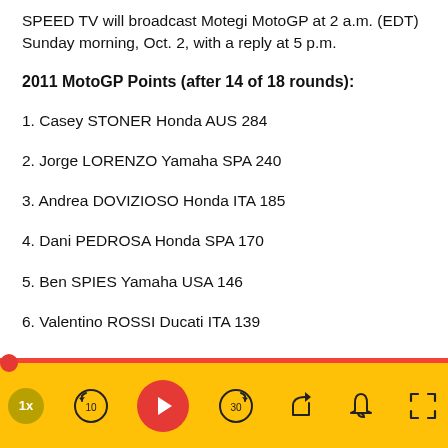SPEED TV will broadcast Motegi MotoGP at 2 a.m. (EDT) Sunday morning, Oct. 2, with a reply at 5 p.m.
2011 MotoGP Points (after 14 of 18 rounds):
1. Casey STONER Honda AUS 284
2. Jorge LORENZO Yamaha SPA 240
3. Andrea DOVIZIOSO Honda ITA 185
4. Dani PEDROSA Honda SPA 170
5. Ben SPIES Yamaha USA 146
6. Valentino ROSSI Ducati ITA 139
[Figure (other): Media player toolbar with yellow background, play button, skip controls, speed indicator (1x), share, notification, and fullscreen buttons]